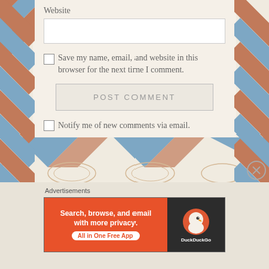Website
Save my name, email, and website in this browser for the next time I comment.
POST COMMENT
Notify me of new comments via email.
Notify me of new posts via email.
Advertisements
[Figure (screenshot): DuckDuckGo advertisement banner: 'Search, browse, and email with more privacy. All in One Free App' with DuckDuckGo logo on dark background]